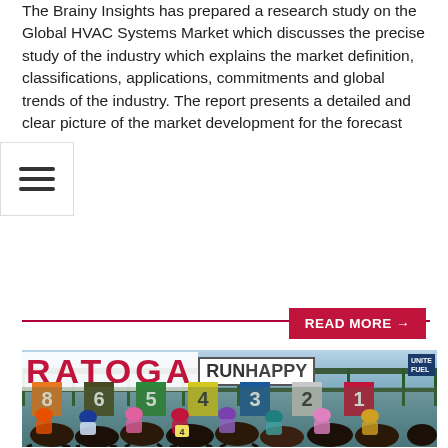The Brainy Insights has prepared a research study on the Global HVAC Systems Market which discusses the precise study of the industry which explains the market definition, classifications, applications, commitments and global trends of the industry. The report presents a detailed and clear picture of the market development for the forecast
[Figure (photo): Saratoga horse racing starting gate with jockeys and horses. Sign reads 'RATOGA RUNHAPPY'. Gate numbers 8, 6, 5, 4, 3, 2, 1 visible. Horses and jockeys in colorful silks bursting from the starting gate. 'UNITED FUEL' sign visible in upper right.]